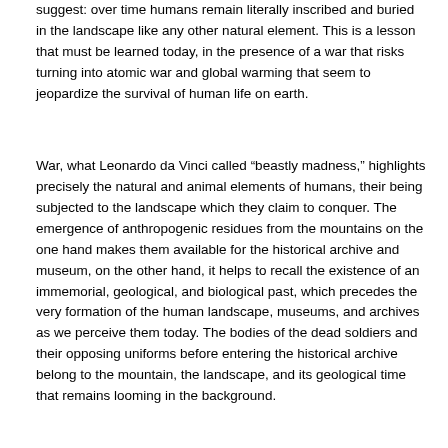suggest: over time humans remain literally inscribed and buried in the landscape like any other natural element. This is a lesson that must be learned today, in the presence of a war that risks turning into atomic war and global warming that seem to jeopardize the survival of human life on earth.
War, what Leonardo da Vinci called “beastly madness,” highlights precisely the natural and animal elements of humans, their being subjected to the landscape which they claim to conquer. The emergence of anthropogenic residues from the mountains on the one hand makes them available for the historical archive and museum, on the other hand, it helps to recall the existence of an immemorial, geological, and biological past, which precedes the very formation of the human landscape, museums, and archives as we perceive them today. The bodies of the dead soldiers and their opposing uniforms before entering the historical archive belong to the mountain, the landscape, and its geological time that remains looming in the background.